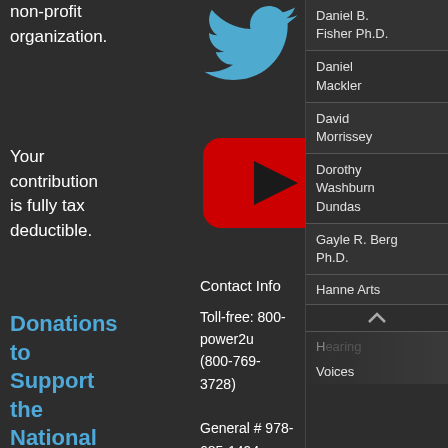non-profit organization.
[Figure (logo): Twitter bird logo in blue]
Your contribution is fully tax deductible.
[Figure (logo): YouTube play button logo in red]
Donations to Support the National Empowerment Center
Contact Info
Toll-free: 800-power2u (800-769-3728)
General # 978-685-1494
Daniel B. Fisher Ph.D.
Daniel Mackler
David Morrissey
Dorothy Washburn Dundas
Gayle R. Berg Ph.D.
Hanne Arts
Hearing Voices